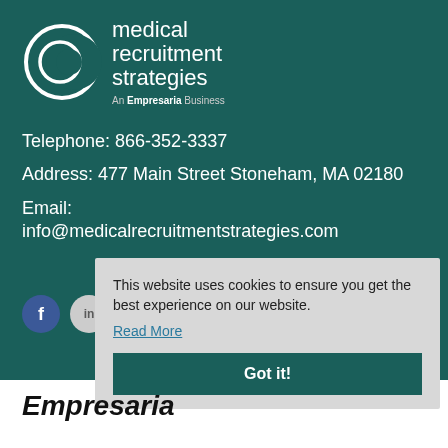[Figure (logo): Medical Recruitment Strategies logo with crescent moon graphic and text 'medical recruitment strategies', subtitle 'An Empresaria Business']
Telephone:  866-352-3337
Address:  477 Main Street Stoneham, MA 02180
Email:
info@medicalrecruitmentstrategies.com
This website uses cookies to ensure you get the best experience on our website.
Read More
Got it!
[Figure (logo): Empresaria logo in bold italic black text at the bottom]